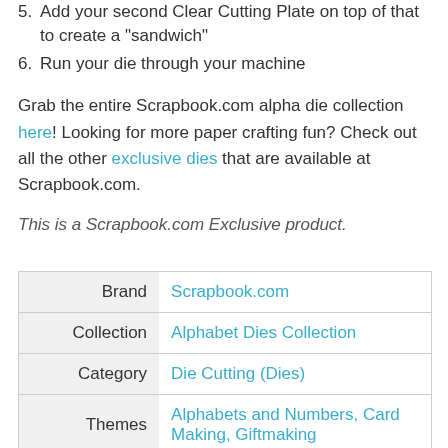5. Add your second Clear Cutting Plate on top of that to create a "sandwich"
6. Run your die through your machine
Grab the entire Scrapbook.com alpha die collection here! Looking for more paper crafting fun? Check out all the other exclusive dies that are available at Scrapbook.com.
This is a Scrapbook.com Exclusive product.
|  |  |
| --- | --- |
| Brand | Scrapbook.com |
| Collection | Alphabet Dies Collection |
| Category | Die Cutting (Dies) |
| Themes | Alphabets and Numbers, Card Making, Giftmaking |